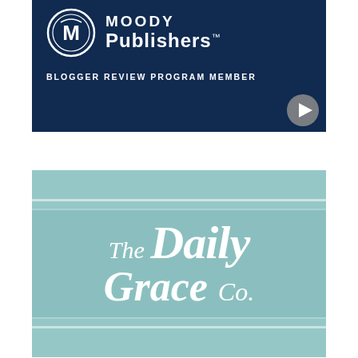[Figure (logo): Moody Publishers logo with circular M emblem on dark navy background with text 'MOODY Publishers™' and 'BLOGGER REVIEW PROGRAM MEMBER'. A circular play button is partially overlapping the bottom-right corner.]
[Figure (logo): The Daily Grace Co. logo in white italic script on a muted teal/sage blue background with light horizontal stripe borders at top and bottom.]